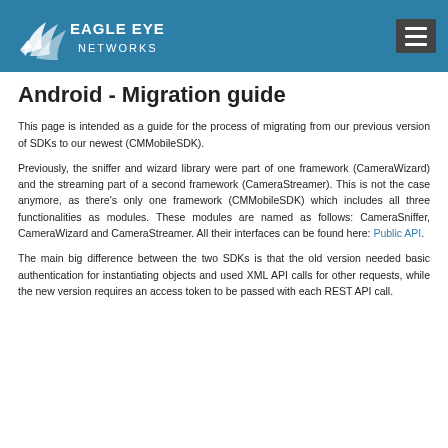Eagle Eye Networks
Android - Migration guide
This page is intended as a guide for the process of migrating from our previous version of SDKs to our newest (CMMobileSDK).
Previously, the sniffer and wizard library were part of one framework (CameraWizard) and the streaming part of a second framework (CameraStreamer). This is not the case anymore, as there's only one framework (CMMobileSDK) which includes all three functionalities as modules. These modules are named as follows: CameraSniffer, CameraWizard and CameraStreamer. All their interfaces can be found here: Public API.
The main big difference between the two SDKs is that the old version needed basic authentication for instantiating objects and used XML API calls for other requests, while the new version requires an access token to be passed with each REST API call.